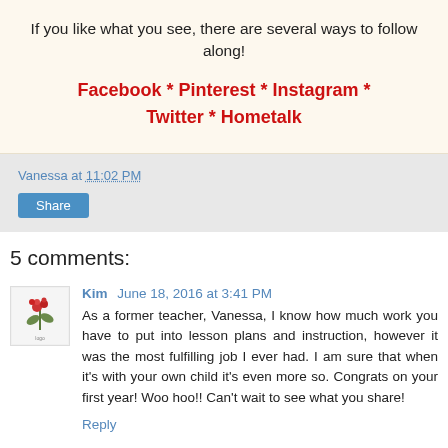If you like what you see, there are several ways to follow along!
Facebook * Pinterest * Instagram * Twitter * Hometalk
Vanessa at 11:02 PM
Share
5 comments:
Kim   June 18, 2016 at 3:41 PM
[Figure (illustration): Small avatar/logo image with red floral design on white background]
As a former teacher, Vanessa, I know how much work you have to put into lesson plans and instruction, however it was the most fulfilling job I ever had. I am sure that when it's with your own child it's even more so. Congrats on your first year! Woo hoo!! Can't wait to see what you share!
Reply